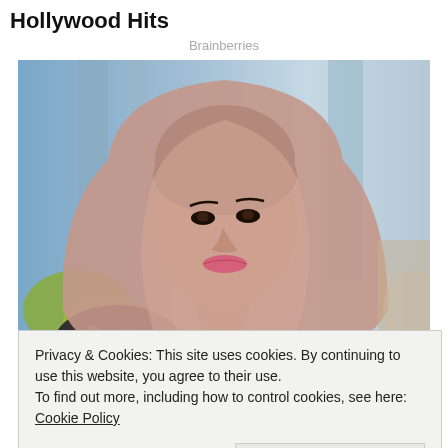Hollywood Hits
Brainberries
[Figure (photo): A young woman wearing a pale pink/mauve hijab, looking to the side, seated indoors with blurred blue background and greenery.]
This Muslim Woman Belongs To World's 10
Privacy & Cookies: This site uses cookies. By continuing to use this website, you agree to their use.
To find out more, including how to control cookies, see here: Cookie Policy
Close and accept
[Figure (photo): Bottom strip showing a partial photo below the cookie banner.]